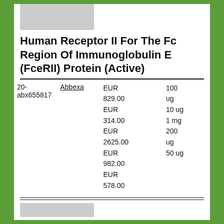[Figure (other): Gray rectangle placeholder image at top]
Human Receptor II For The Fc Region Of Immunoglobulin E (FceRII) Protein (Active)
|  | Brand | Price | Size |
| --- | --- | --- | --- |
| 20-abx655817 | Abbexa | EUR 829.00
EUR 314.00
EUR 2625.00
EUR 982.00
EUR 578.00 | 100 ug
10 ug
1 mg
200 ug
50 ug |
[Figure (other): Gray rectangle placeholder image at bottom]